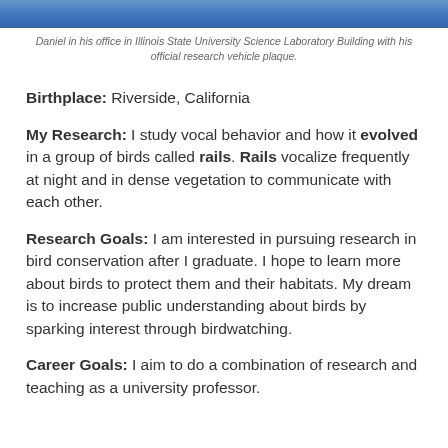[Figure (photo): Top portion of a photo showing Daniel in his office in Illinois State University Science Laboratory Building]
Daniel in his office in Illinois State University Science Laboratory Building with his official research vehicle plaque.
Birthplace: Riverside, California
My Research: I study vocal behavior and how it evolved in a group of birds called rails. Rails vocalize frequently at night and in dense vegetation to communicate with each other.
Research Goals: I am interested in pursuing research in bird conservation after I graduate. I hope to learn more about birds to protect them and their habitats. My dream is to increase public understanding about birds by sparking interest through birdwatching.
Career Goals: I aim to do a combination of research and teaching as a university professor.